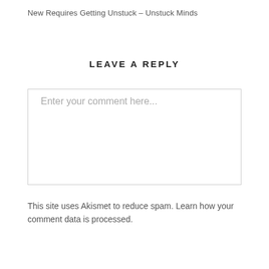New Requires Getting Unstuck – Unstuck Minds
LEAVE A REPLY
Enter your comment here...
This site uses Akismet to reduce spam. Learn how your comment data is processed.